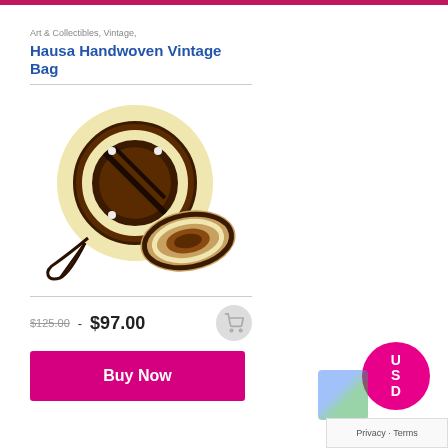Art & Collectibles, Vintage,
Hausa Handwoven Vintage Bag
[Figure (photo): A round handwoven vintage Hausa bag with brown and cream geometric patterns, shown from the front and back, with a long leather strap.]
$125.00 - $97.00
Buy Now